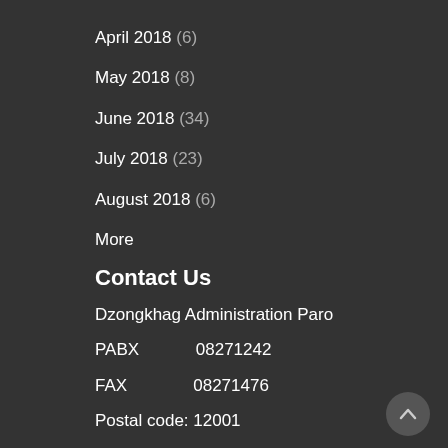April 2018 (6)
May 2018 (8)
June 2018 (34)
July 2018 (23)
August 2018 (6)
More
Contact Us
Dzongkhag Administration Paro
PABX          08271242
FAX            08271476
Postal code: 12001
info@paro.gov.bt